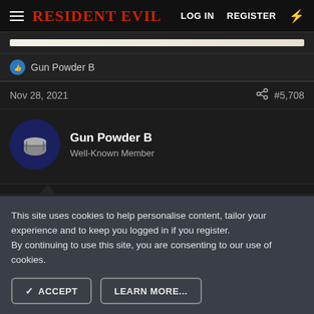Resident Evil  LOG IN  REGISTER
[Figure (screenshot): Progress bar, beige/cream colored]
Gun Powder B
Nov 28, 2021  #5,708
Gun Powder B
Well-Known Member
I got a whole bunch of these
This site uses cookies to help personalise content, tailor your experience and to keep you logged in if you register.
By continuing to use this site, you are consenting to our use of cookies.
✓ ACCEPT  LEARN MORE...